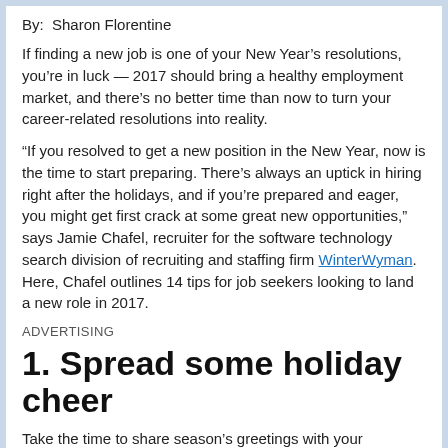By:  Sharon Florentine
If finding a new job is one of your New Year's resolutions, you're in luck — 2017 should bring a healthy employment market, and there's no better time than now to turn your career-related resolutions into reality.
“If you resolved to get a new position in the New Year, now is the time to start preparing. There’s always an uptick in hiring right after the holidays, and if you’re prepared and eager, you might get first crack at some great new opportunities,” says Jamie Chafel, recruiter for the software technology search division of recruiting and staffing firm WinterWyman. Here, Chafel outlines 14 tips for job seekers looking to land a new role in 2017.
ADVERTISING
1. Spread some holiday cheer
Take the time to share season’s greetings with your professional network. This is a great way to reconnect with former colleagues that you’ve lost touch with over the years who may be in a position to hook you up with the right